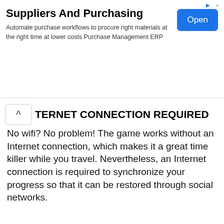[Figure (screenshot): Advertisement banner for Suppliers And Purchasing with text and Open button]
INTERNET CONNECTION REQUIRED
No wifi? No problem! The game works without an Internet connection, which makes it a great time killer while you travel. Nevertheless, an Internet connection is required to synchronize your progress so that it can be restored through social networks.
[Figure (screenshot): Jobs on Monster advertisement panel with job listings: EH&S Safety Manager at Milgard Manufacturing, Inc., Sacramento, CA and Part-Time Cashier at Aldi Inc., Medina, MN]